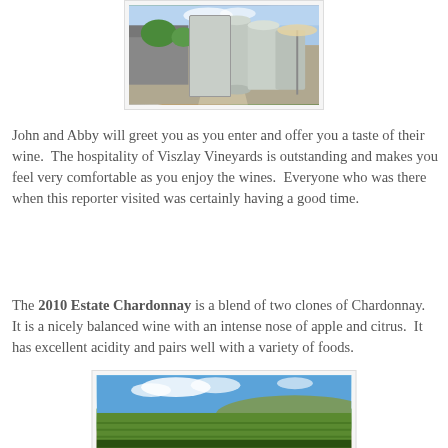[Figure (photo): Outdoor photo of winery facility with large stainless steel fermentation tanks along a pathway, with trees and buildings visible]
John and Abby will greet you as you enter and offer you a taste of their wine.  The hospitality of Viszlay Vineyards is outstanding and makes you feel very comfortable as you enjoy the wines.  Everyone who was there when this reporter visited was certainly having a good time.
The 2010 Estate Chardonnay is a blend of two clones of Chardonnay.  It is a nicely balanced wine with an intense nose of apple and citrus.  It has excellent acidity and pairs well with a variety of foods.
[Figure (photo): Outdoor photo of vineyard landscape with blue sky, white clouds, green vines in foreground, and rolling hills in background]